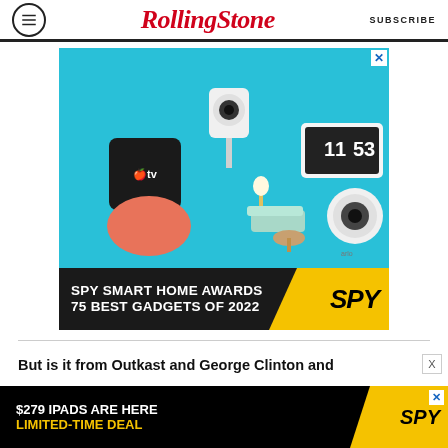Rolling Stone | SUBSCRIBE
[Figure (photo): SPY Smart Home Awards advertisement showing smart home gadgets including Apple TV, Google Home, a security camera, a smart clock, and miniature furniture on a teal background. Bottom bar reads: SPY SMART HOME AWARDS 75 BEST GADGETS OF 2022 with SPY logo]
But is it from Outkast and George Clinton and
[Figure (photo): SPY advertisement: $279 IPADS ARE HERE LIMITED-TIME DEAL with SPY logo]